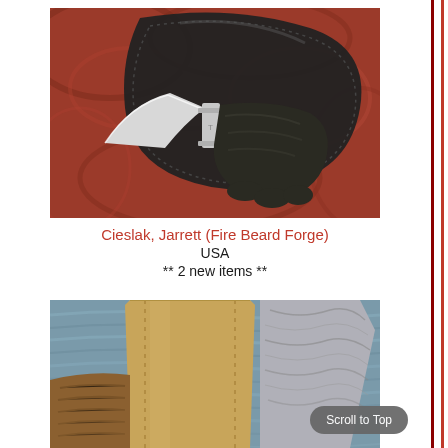[Figure (photo): A fixed-blade knife with a curved silver blade, dark wooden handle, and silver guard, resting partially in a black leather sheath with decorative stitching, on a reddish-brown burl wood background.]
Cieslak, Jarrett (Fire Beard Forge)
USA
** 2 new items **
[Figure (photo): A knife with a wooden handle and a Damascus-pattern steel blade, partially inserted into a tan/natural leather sheath, resting on a blue-grey rippled metallic background.]